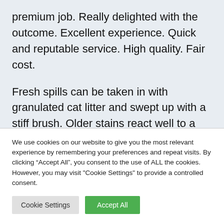premium job. Really delighted with the outcome. Excellent experience. Quick and reputable service. High quality. Fair cost.
Fresh spills can be taken in with granulated cat litter and swept up with a stiff brush. Older stains react well to a great scrubbing with a variety of home remedies: paste made
We use cookies on our website to give you the most relevant experience by remembering your preferences and repeat visits. By clicking “Accept All”, you consent to the use of ALL the cookies. However, you may visit "Cookie Settings" to provide a controlled consent.